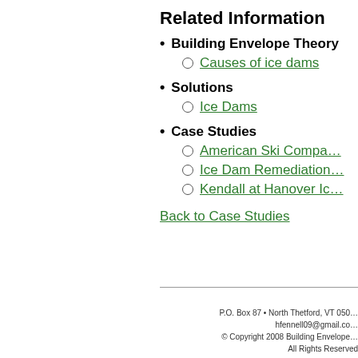Related Information
Building Envelope Theory
Causes of ice dams
Solutions
Ice Dams
Case Studies
American Ski Compa…
Ice Dam Remediation…
Kendall at Hanover Ic…
Back to Case Studies
P.O. Box 87 • North Thetford, VT 050… hfennell09@gmail.co… © Copyright 2008 Building Envelope… All Rights Reserved